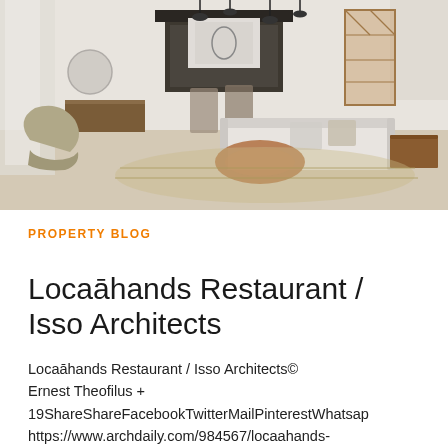[Figure (photo): Interior photo of a modern mid-century living room with white sofa, wooden coffee table, accent chair, pendant lights, and a bookshelf in the background.]
PROPERTY BLOG
Locaāhands Restaurant / Isso Architects
Locaāhands Restaurant / Isso Architects© Ernest Theofilus + 19ShareShareFacebookTwitterMailPinterestWhatsap https://www.archdaily.com/984567/locaahands-restaurant-isso-